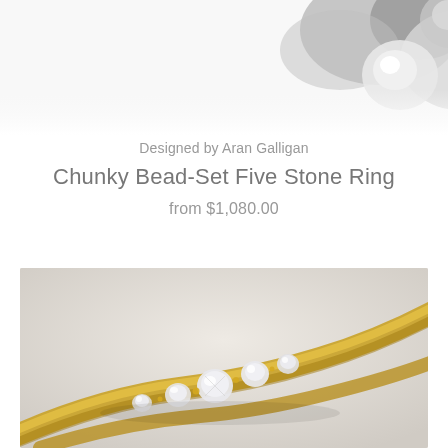[Figure (photo): Partial top view of a ring or jewelry piece against white background, showing metallic spherical elements]
Designed by Aran Galligan
Chunky Bead-Set Five Stone Ring
from $1,080.00
[Figure (photo): Gold ring with five bead-set diamonds/stones arranged along the band, photographed on light grey background]